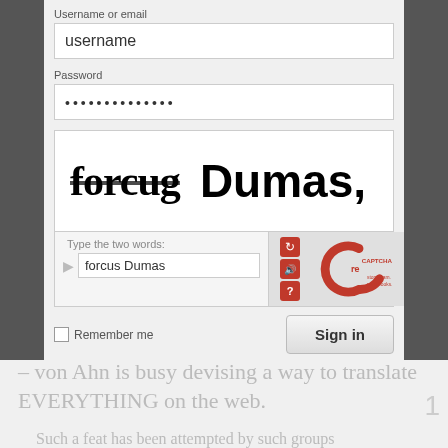[Figure (screenshot): A web login form screenshot showing username/email field with 'username' placeholder, password field with dots, a reCAPTCHA widget displaying 'forcus Dumas' words to type, a 'Remember me' checkbox, and a 'Sign in' button.]
– von Ahn is busy devising a way to translate EVERYTHING on the web.
Such a feat has been attempted by such groups